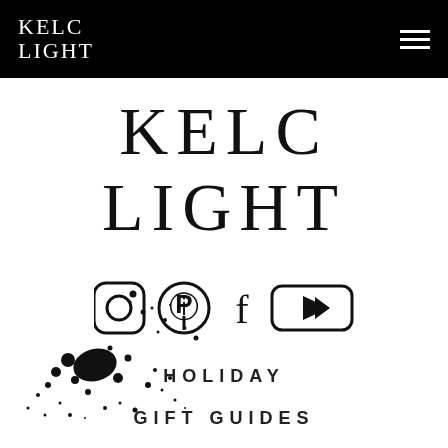KELC LIGHT
[Figure (logo): Large KELC LIGHT logo text centered on white background]
[Figure (illustration): Black ink splatter decoration in lower left area]
[Figure (infographic): Social media icons: Instagram, Pinterest, Facebook, YouTube]
HOLIDAY
GIFT GUIDES